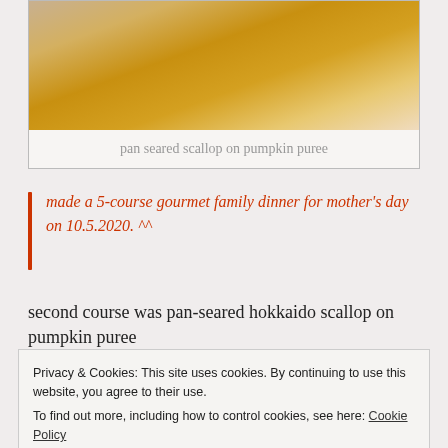[Figure (photo): Photo of pan seared scallop on pumpkin puree, showing orange/golden puree on a white plate]
pan seared scallop on pumpkin puree
made a 5-course gourmet family dinner for mother's day on 10.5.2020. ^^
second course was pan-seared hokkaido scallop on pumpkin puree
Privacy & Cookies: This site uses cookies. By continuing to use this website, you agree to their use.
To find out more, including how to control cookies, see here: Cookie Policy
Close and accept
the palate and combined perfectly with the scallop.